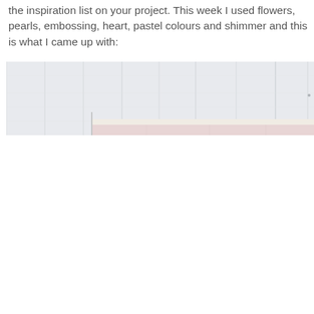the inspiration list on your project. This week I used flowers, pearls, embossing, heart, pastel colours and shimmer and this is what I came up with:
[Figure (photo): A partial photo showing a whitewashed wood plank background (light grey-white vertical planks) with a cream/pink layered element visible at the bottom right portion of the image.]